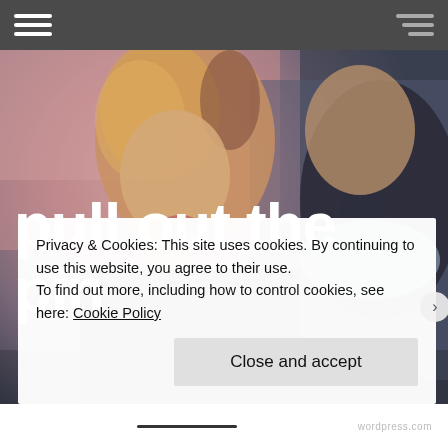Navigation bar with hamburger menus
[Figure (photo): Photograph of a young blonde woman and an older man in the background, used as hero image background for a website]
pull out the pin
Privacy & Cookies: This site uses cookies. By continuing to use this website, you agree to their use.
To find out more, including how to control cookies, see here: Cookie Policy
Close and accept